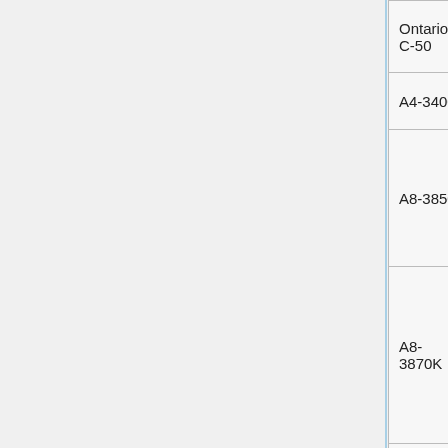| Ontario C-50 | 2 | 6.2 | 0.68 |
| A4-3400 | 2 | 23.2 |  |
| A8-3850 | 4 | 60 |  |
| A8-3870K | 4 | 95 |  |
| A10-5800K | 4 | 105 |  |